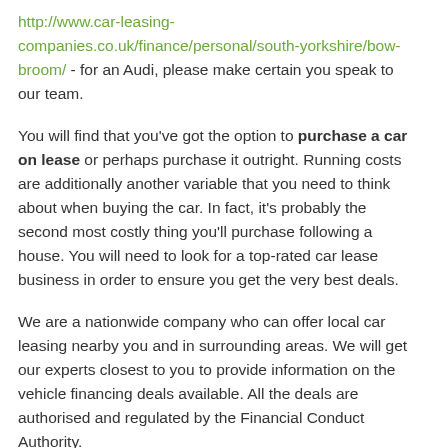http://www.car-leasing-companies.co.uk/finance/personal/south-yorkshire/bow-broom/ - for an Audi, please make certain you speak to our team.
You will find that you've got the option to purchase a car on lease or perhaps purchase it outright. Running costs are additionally another variable that you need to think about when buying the car. In fact, it's probably the second most costly thing you'll purchase following a house. You will need to look for a top-rated car lease business in order to ensure you get the very best deals.
We are a nationwide company who can offer local car leasing nearby you and in surrounding areas. We will get our experts closest to you to provide information on the vehicle financing deals available. All the deals are authorised and regulated by the Financial Conduct Authority.
Our company offers a number of vehicle financing deals for Audis in Bow Broom which are flexible enough to suit each customer. Be sure to let us know what sort of plan you are looking for and we'll try our best to fit with your price range.